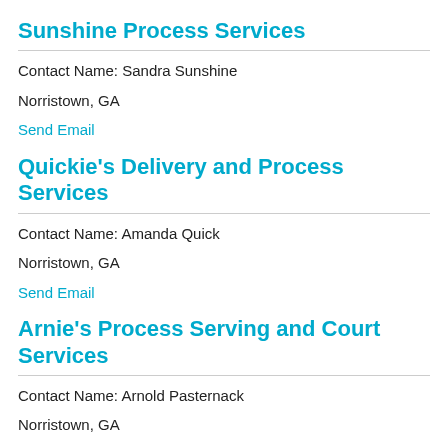Sunshine Process Services
Contact Name: Sandra Sunshine
Norristown, GA
Send Email
Quickie's Delivery and Process Services
Contact Name: Amanda Quick
Norristown, GA
Send Email
Arnie's Process Serving and Court Services
Contact Name: Arnold Pasternack
Norristown, GA